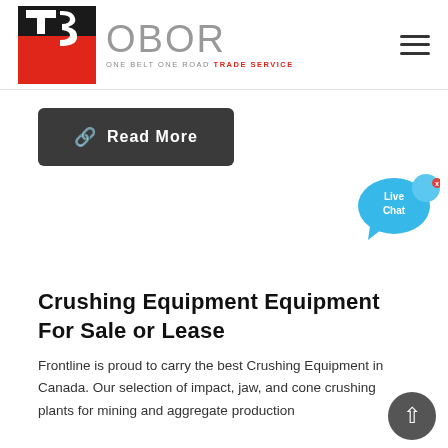[Figure (logo): OBOR Trade Service logo with red and black TS icon and gray OBOR text with tagline ONE BELT ONE ROAD TRADE SERVICE]
[Figure (illustration): Read More button with dark gray background and chain link icon]
[Figure (illustration): Live Chat widget bubble in blue]
Crushing Equipment Equipment For Sale or Lease
Frontline is proud to carry the best Crushing Equipment in Canada. Our selection of impact, jaw, and cone crushing plants for mining and aggregate production